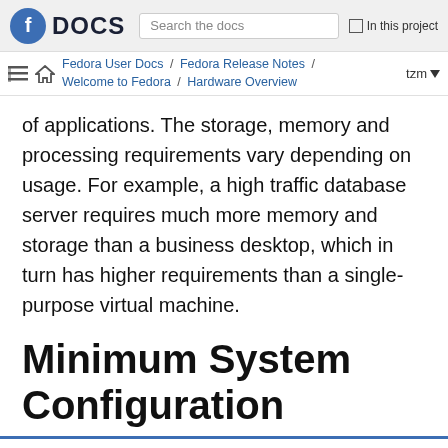DOCS — Search the docs — In this project
Fedora User Docs / Fedora Release Notes / Welcome to Fedora / Hardware Overview — tzm
of applications. The storage, memory and processing requirements vary depending on usage. For example, a high traffic database server requires much more memory and storage than a business desktop, which in turn has higher requirements than a single-purpose virtual machine.
Minimum System Configuration
The figures below are a recommended minimum